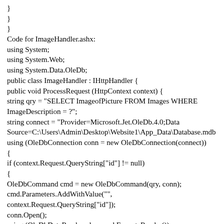}
}
}
Code for ImageHandler.ashx:
using System;
using System.Web;
using System.Data.OleDb;
public class ImageHandler : IHttpHandler {
public void ProcessRequest (HttpContext context) {
string qry = "SELECT ImageofPicture FROM Images WHERE ImageDescription = ?";
string connect = "Provider=Microsoft.Jet.OleDb.4.0;Data Source=C:\Users\Admin\Desktop\Website1\App_Data\Database.mdb
using (OleDbConnection conn = new OleDbConnection(connect))
{
if (context.Request.QueryString["id"] != null)
{
OleDbCommand cmd = new OleDbCommand(qry, conn);
cmd.Parameters.AddWithValue("",
context.Request.QueryString["id"]);
conn.Open();
using (OleDbDataReader rdr = cmd.ExecuteReader())
{
if (rdr.HasRows)
{